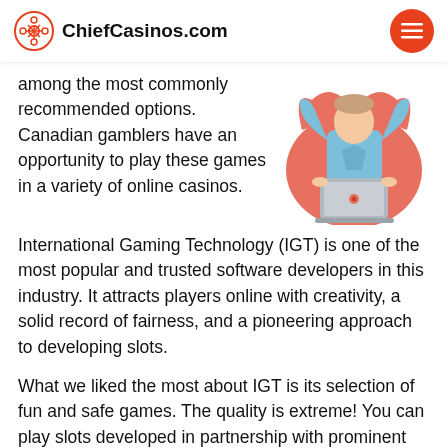ChiefCasinos.com
[Figure (illustration): 3D rendered character in light blue shirt holding a laptop, arms raised, with an orange/coral background figure behind.]
among the most commonly recommended options. Canadian gamblers have an opportunity to play these games in a variety of online casinos. International Gaming Technology (IGT) is one of the most popular and trusted software developers in this industry. It attracts players online with creativity, a solid record of fairness, and a pioneering approach to developing slots.
What we liked the most about IGT is its selection of fun and safe games. The quality is extreme! You can play slots developed in partnership with prominent Hollywood studios. If you like movie-inspired casino games, IGT will become your favorite software provider.
This is especially possible because...